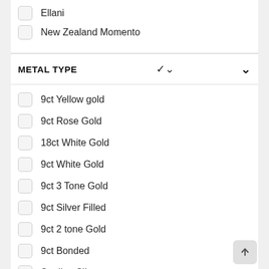Ellani
New Zealand Momento
METAL TYPE
9ct Yellow gold
9ct Rose Gold
18ct White Gold
9ct White Gold
9ct 3 Tone Gold
9ct Silver Filled
9ct 2 tone Gold
9ct Bonded
Sterling Silver
Plated
Stainless Steel